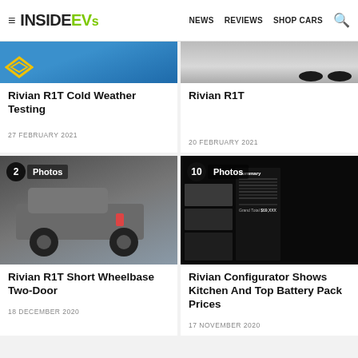InsideEVs — NEWS  REVIEWS  SHOP CARS
[Figure (photo): Partial top image: Rivian cold weather testing photo — blue background with Rivian logo]
[Figure (photo): Partial top image: Rivian R1T tires close-up on grey background]
Rivian R1T Cold Weather Testing
27 FEBRUARY 2021
Rivian R1T
20 FEBRUARY 2021
[Figure (photo): Rivian R1T Short Wheelbase Two-Door — grey truck on dark urban background. Badge: 2 Photos]
[Figure (photo): Rivian configurator summary screen showing kitchen and battery pack prices — dark/black UI. Badge: 10 Photos]
Rivian R1T Short Wheelbase Two-Door
18 DECEMBER 2020
Rivian Configurator Shows Kitchen And Top Battery Pack Prices
17 NOVEMBER 2020